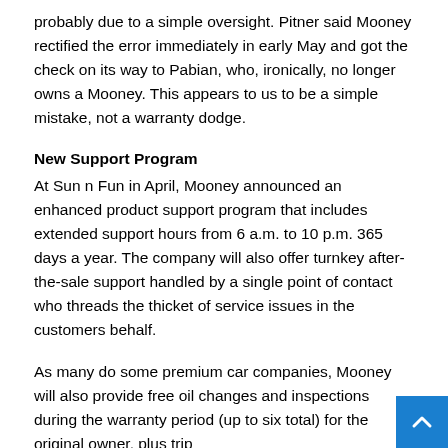probably due to a simple oversight. Pitner said Mooney rectified the error immediately in early May and got the check on its way to Pabian, who, ironically, no longer owns a Mooney. This appears to us to be a simple mistake, not a warranty dodge.
New Support Program
At Sun n Fun in April, Mooney announced an enhanced product support program that includes extended support hours from 6 a.m. to 10 p.m. 365 days a year. The company will also offer turnkey after-the-sale support handled by a single point of contact who threads the thicket of service issues in the customers behalf.
As many do some premium car companies, Mooney will also provide free oil changes and inspections during the warranty period (up to six total) for the original owner, plus trip